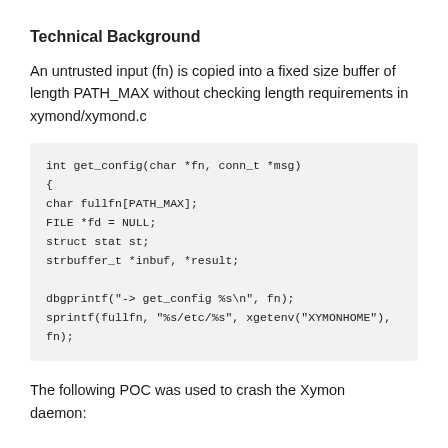Technical Background
An untrusted input (fn) is copied into a fixed size buffer of length PATH_MAX without checking length requirements in xymond/xymond.c
int get_config(char *fn, conn_t *msg)
{
char fullfn[PATH_MAX];
FILE *fd = NULL;
struct stat st;
strbuffer_t *inbuf, *result;

dbgprintf("-> get_config %s\n", fn);
sprintf(fullfn, "%s/etc/%s", xgetenv("XYMONHOME"),
fn);
The following POC was used to crash the Xymon daemon: